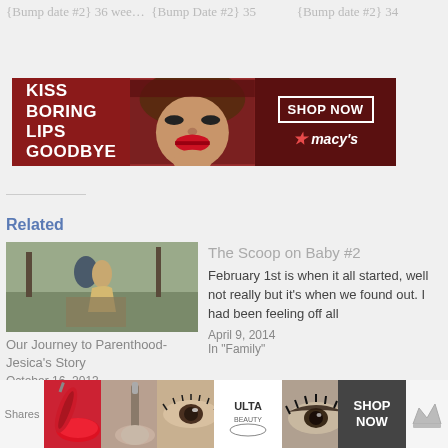{Bump date #2} 36 wee…  {Bump Date #2} 35  {Bump date #2} 34
[Figure (photo): Macy's advertisement banner: 'KISS BORING LIPS GOODBYE' with woman's face and red lips, SHOP NOW button and macy's star logo]
Related
[Figure (photo): Outdoor photo of two people embracing on a path]
Our Journey to Parenthood- Jesica's Story
October 16, 2013
In "Journey to Parenthood Series"
The Scoop on Baby #2
February 1st is when it all started, well not really but it's when we found out. I had been feeling off all
April 9, 2014
In "Family"
[Figure (photo): Partial photo showing a child and floral background]
CLOSE
[Figure (photo): Ulta beauty advertisement strip with makeup images, SHOP NOW button]
Shares